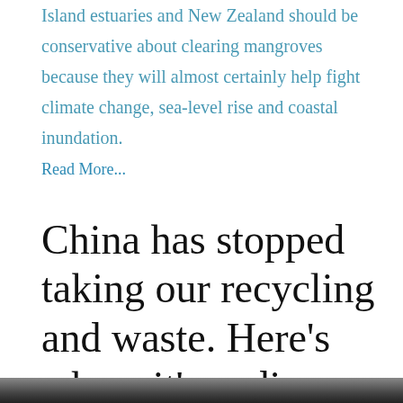Island estuaries and New Zealand should be conservative about clearing mangroves because they will almost certainly help fight climate change, sea-level rise and coastal inundation.
Read More...
China has stopped taking our recycling and waste. Here’s where it’s ending up
[Figure (photo): A photo strip at the bottom of the page, partially visible, showing an outdoor scene.]